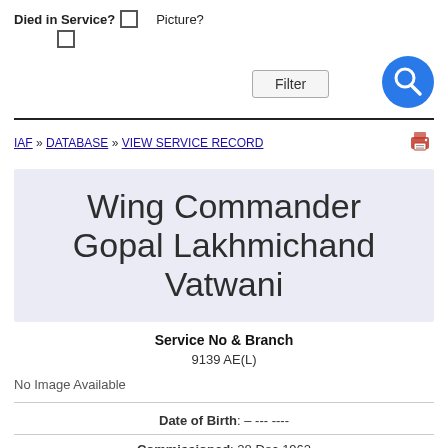Died in Service? ☐  Picture?
☐
Filter
IAF » DATABASE » VIEW SERVICE RECORD
Wing Commander Gopal Lakhmichand Vatwani
Service No & Branch
9139 AE(L)
No Image Available
Date of Birth: – --- ----
Commissioned: 28 Dec 1962